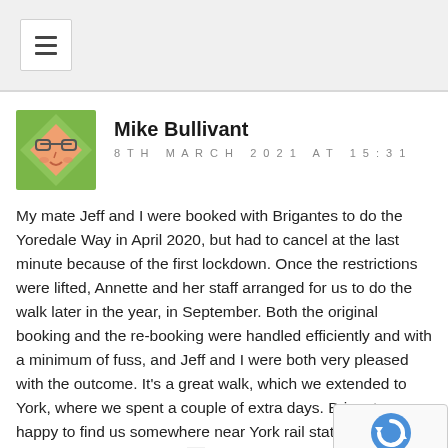[Figure (illustration): Avatar icon showing a cartoon character with glasses on a green diamond/rhombus background]
Mike Bullivant
8TH MARCH 2021 AT 15:31
My mate Jeff and I were booked with Brigantes to do the Yoredale Way in April 2020, but had to cancel at the last minute because of the first lockdown. Once the restrictions were lifted, Annette and her staff arranged for us to do the walk later in the year, in September. Both the original booking and the re-booking were handled efficiently and with a minimum of fuss, and Jeff and I were both very pleased with the outcome. It's a great walk, which we extended to York, where we spent a couple of extra days. Brigantes were happy to find us somewhere near York rail station, as requested, for the two extra nights. It's a great service from a great provider.